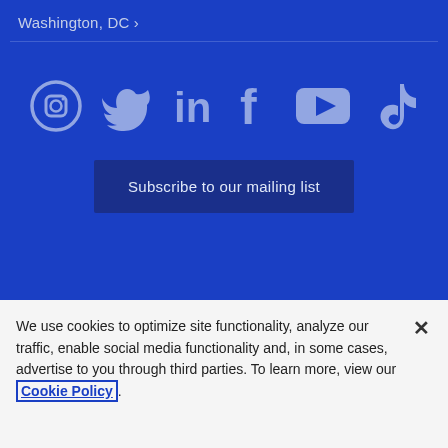Washington, DC ›
[Figure (infographic): Social media icons row: Instagram, Twitter, LinkedIn, Facebook, YouTube, TikTok — white/light blue icons on blue background]
Subscribe to our mailing list
Stay updated.
Subscribe to receive Husch Blackwell's news and
We use cookies to optimize site functionality, analyze our traffic, enable social media functionality and, in some cases, advertise to you through third parties. To learn more, view our Cookie Policy.